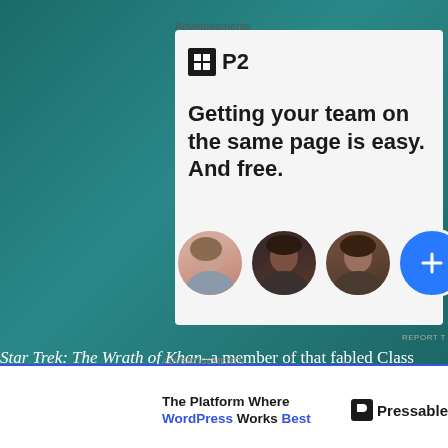[Figure (screenshot): Teal textured background behind the main content]
Advertisements
[Figure (logo): P2 logo: dark square icon with grid symbol followed by 'P2' text]
Getting your team on the same page is easy. And free.
[Figure (illustration): Three circular avatar photos of people and a blue circle with a plus sign]
REPORT T...
Star Trek: The Wrath of Khan–a member of that fabled Class of 19... movies"–turned 35 this year, and to celebrate, the film is retur... the Fathom Events series.  It has been said the film's direct...
The Platform Where WordPress Works Best
[Figure (logo): Pressable logo: dark P icon and 'Pressable' text]